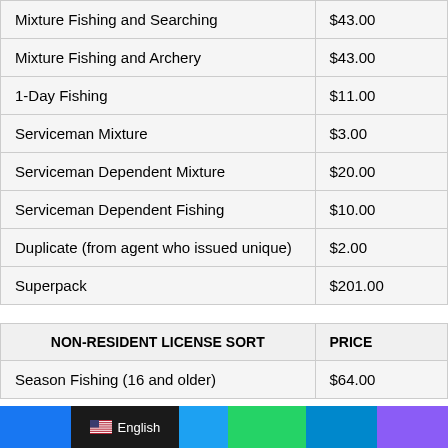| Mixture Fishing and Searching | $43.00 |
| Mixture Fishing and Archery | $43.00 |
| 1-Day Fishing | $11.00 |
| Serviceman Mixture | $3.00 |
| Serviceman Dependent Mixture | $20.00 |
| Serviceman Dependent Fishing | $10.00 |
| Duplicate (from agent who issued unique) | $2.00 |
| Superpack | $201.00 |
| NON-RESIDENT LICENSE SORT | PRICE |
| --- | --- |
| Season Fishing (16 and older) | $64.00 |